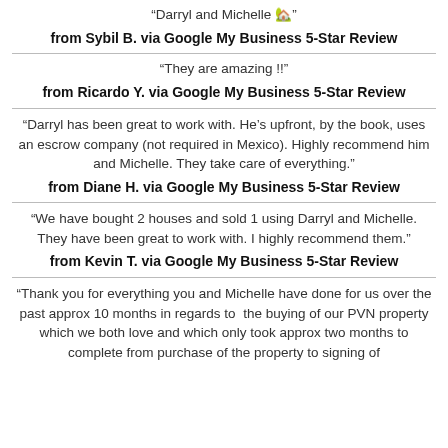"Darryl and Michelle 🏡"
from Sybil B. via Google My Business 5-Star Review
"They are amazing !!"
from Ricardo Y. via Google My Business 5-Star Review
"Darryl has been great to work with. He's upfront, by the book, uses an escrow company (not required in Mexico). Highly recommend him and Michelle. They take care of everything."
from Diane H. via Google My Business 5-Star Review
"We have bought 2 houses and sold 1 using Darryl and Michelle. They have been great to work with. I highly recommend them."
from Kevin T. via Google My Business 5-Star Review
"Thank you for everything you and Michelle have done for us over the past approx 10 months in regards to  the buying of our PVN property which we both love and which only took approx two months to complete from purchase of the property to signing of